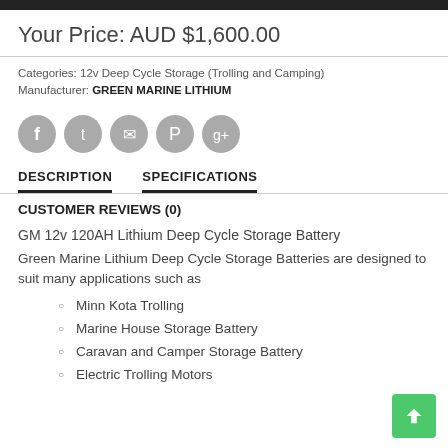Your Price: AUD $1,600.00
Categories: 12v Deep Cycle Storage (Trolling and Camping)
Manufacturer: GREEN MARINE LITHIUM
[Figure (illustration): Row of five social media icon circles (Facebook, Twitter, Email, Pinterest, Google+) in grey]
DESCRIPTION
SPECIFICATIONS
CUSTOMER REVIEWS (0)
GM 12v 120AH Lithium Deep Cycle Storage Battery
Green Marine Lithium Deep Cycle Storage Batteries are designed to suit many applications such as
Minn Kota Trolling
Marine House Storage Battery
Caravan and Camper Storage Battery
Electric Trolling Motors